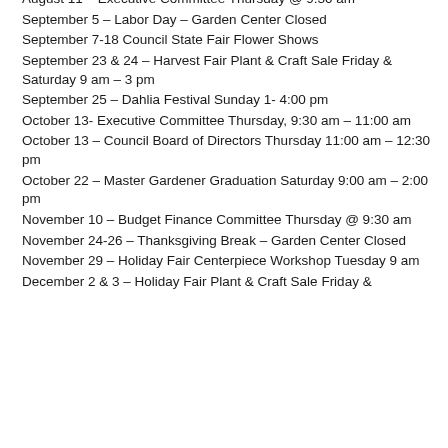August 11 – Executive Committee Thursday @ 9:30 am
September 5 – Labor Day – Garden Center Closed
September 7-18 Council State Fair Flower Shows
September 23 & 24 – Harvest Fair Plant & Craft Sale Friday & Saturday 9 am – 3 pm
September 25 – Dahlia Festival Sunday 1- 4:00 pm
October 13- Executive Committee Thursday, 9:30 am – 11:00 am
October 13 – Council Board of Directors Thursday 11:00 am – 12:30 pm
October 22 – Master Gardener Graduation Saturday 9:00 am – 2:00 pm
November 10 – Budget Finance Committee Thursday @ 9:30 am
November 24-26 – Thanksgiving Break – Garden Center Closed
November 29 – Holiday Fair Centerpiece Workshop Tuesday 9 am
December 2 & 3 – Holiday Fair Plant & Craft Sale Friday &